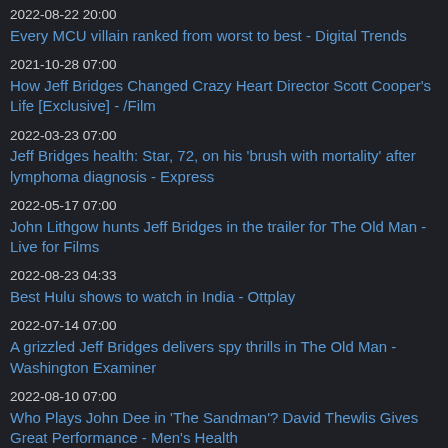2022-08-22 20:00
Every MCU villain ranked from worst to best - Digital Trends
2021-10-28 07:00
How Jeff Bridges Changed Crazy Heart Director Scott Cooper's Life [Exclusive] - /Film
2022-03-23 07:00
Jeff Bridges health: Star, 72, on his 'brush with mortality' after lymphoma diagnosis - Express
2022-05-17 07:00
John Lithgow hunts Jeff Bridges in the trailer for The Old Man - Live for Films
2022-08-23 04:33
Best Hulu shows to watch in India - Ottplay
2022-07-14 07:00
A grizzled Jeff Bridges delivers spy thrills in The Old Man - Washington Examiner
2022-08-10 07:00
Who Plays John Dee in 'The Sandman'? David Thewlis Gives Great Performance - Men's Health
2022-05-04 07:00
Jeff Bridges Loved Growing a Beard and Going Bald For his...